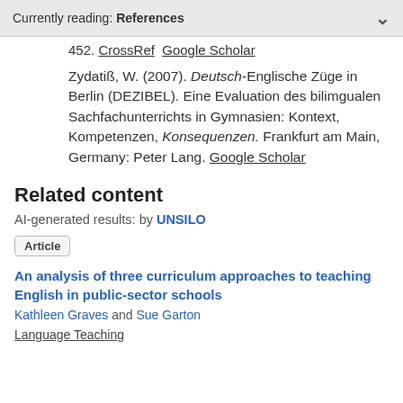Currently reading: References
452. CrossRef  Google Scholar

Zydatiß, W. (2007). Deutsch-Englische Züge in Berlin (DEZIBEL). Eine Evaluation des bilimgualen Sachfachunterrichts in Gymnasien: Kontext, Kompetenzen, Konsequenzen. Frankfurt am Main, Germany: Peter Lang. Google Scholar
Related content
AI-generated results: by UNSILO
Article
An analysis of three curriculum approaches to teaching English in public-sector schools
Kathleen Graves and Sue Garton
Language Teaching